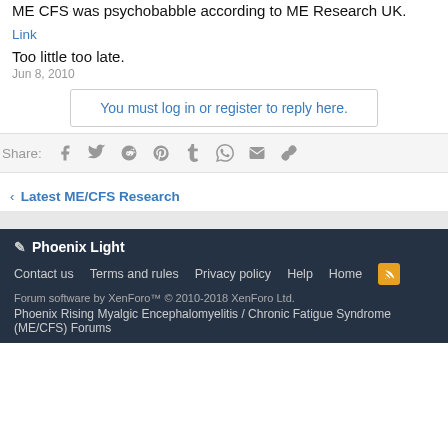ME CFS was psychobabble according to ME Research UK.
Link
Too little too late.
Jun 8, 2010
You must log in or register to reply here.
Share:
< Latest ME/CFS Research
✎ Phoenix Light
Contact us  Terms and rules  Privacy policy  Help  Home  [RSS]
Forum software by XenForo™ © 2010-2018 XenForo Ltd.
Phoenix Rising Myalgic Encephalomyelitis / Chronic Fatigue Syndrome (ME/CFS) Forums